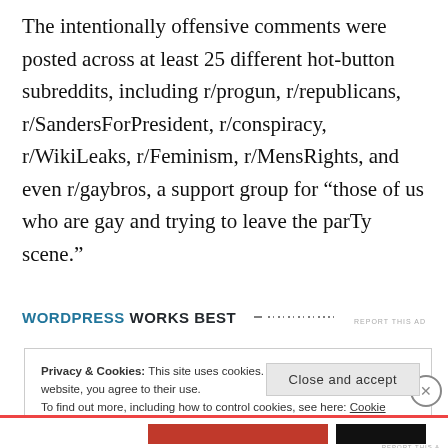The intentionally offensive comments were posted across at least 25 different hot-button subreddits, including r/progun, r/republicans, r/SandersForPresident, r/conspiracy, r/WikiLeaks, r/Feminism, r/MensRights, and even r/gaybros, a support group for “those of us who are gay and trying to leave the parTy scene.”
[Figure (screenshot): WordPress Works Best ad banner with dashed line decoration]
Privacy & Cookies: This site uses cookies. By continuing to use this website, you agree to their use.
To find out more, including how to control cookies, see here: Cookie Policy
Close and accept